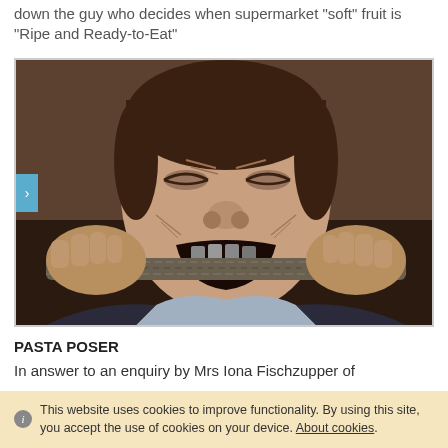down the guy who decides when supermarket "soft" fruit is "Ripe and Ready-to-Eat"
[Figure (photo): A man biting aggressively on a thick metal or rope bar with both hands gripping each end, making an intense facial expression with eyes squinted, from a film scene.]
PASTA POSER
In answer to an enquiry by Mrs Iona Fischzupper of
This website uses cookies to improve functionality. By using this site, you accept the use of cookies on your device. About cookies.